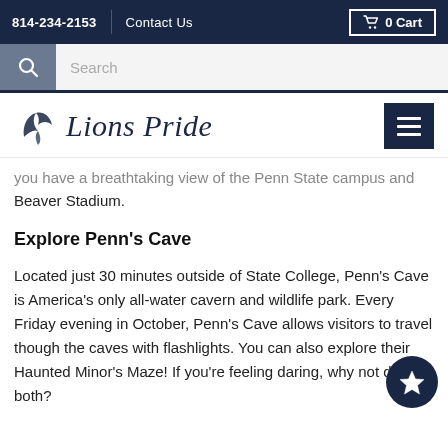814-234-2153   Contact Us   0 Cart
Search
Lions Pride
you have a breathtaking view of the Penn State campus and Beaver Stadium.
Explore Penn's Cave
Located just 30 minutes outside of State College, Penn's Cave is America's only all-water cavern and wildlife park. Every Friday evening in October, Penn's Cave allows visitors to travel though the caves with flashlights. You can also explore their Haunted Minor's Maze! If you're feeling daring, why not do both?